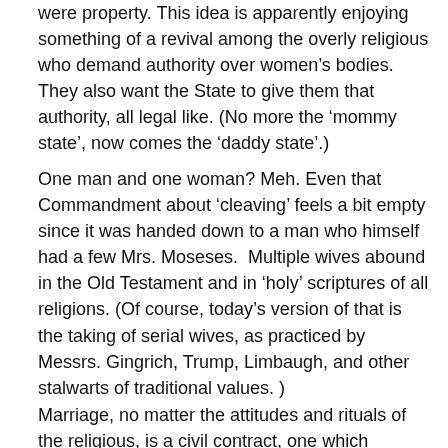were property. This idea is apparently enjoying something of a revival among the overly religious who demand authority over women's bodies. They also want the State to give them that authority, all legal like. (No more the 'mommy state', now comes the 'daddy state'.)
One man and one woman? Meh. Even that Commandment about 'cleaving' feels a bit empty since it was handed down to a man who himself had a few Mrs. Moseses.  Multiple wives abound in the Old Testament and in 'holy' scriptures of all religions. (Of course, today's version of that is the taking of serial wives, as practiced by Messrs. Gingrich, Trump, Limbaugh, and other stalwarts of traditional values. )
Marriage, no matter the attitudes and rituals of the religious, is a civil contract, one which requires a license.